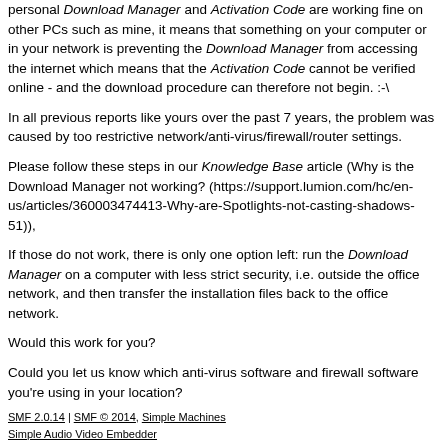personal Download Manager and Activation Code are working fine on other PCs such as mine, it means that something on your computer or in your network is preventing the Download Manager from accessing the internet which means that the Activation Code cannot be verified online - and the download procedure can therefore not begin. :-\
In all previous reports like yours over the past 7 years, the problem was caused by too restrictive network/anti-virus/firewall/router settings.
Please follow these steps in our Knowledge Base article (Why is the Download Manager not working? (https://support.lumion.com/hc/en-us/articles/360003474413-Why-are-Spotlights-not-casting-shadows-51)),
If those do not work, there is only one option left: run the Download Manager on a computer with less strict security, i.e. outside the office network, and then transfer the installation files back to the office network.
Would this work for you?
Could you let us know which anti-virus software and firewall software you're using in your location?
SMF 2.0.14 | SMF © 2014, Simple Machines
Simple Audio Video Embedder